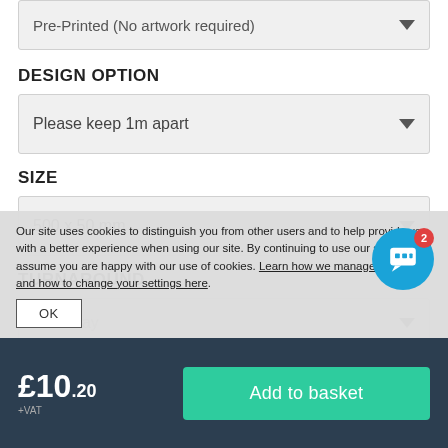[Figure (screenshot): Dropdown control showing 'Pre-Printed (No artwork required)' with a down arrow]
DESIGN OPTION
[Figure (screenshot): Dropdown control showing 'Please keep 1m apart' with a down arrow]
SIZE
[Figure (screenshot): Dropdown control showing '500 x 50 mm' with a down arrow]
TURNAROUND
[Figure (screenshot): Partially visible dropdown control showing 'Next Day' with a down arrow]
Our site uses cookies to distinguish you from other users and to help provide you with a better experience when using our site. By continuing to use our site, we will assume you are happy with our use of cookies. Learn how we manage cookies and how to change your settings here.
£10.20 +VAT
Add to basket